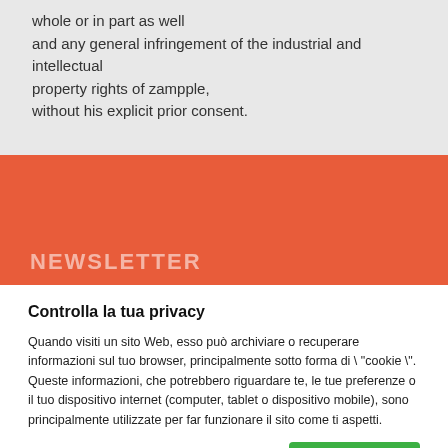whole or in part as well and any general infringement of the industrial and intellectual property rights of zampple, without his explicit prior consent.
[Figure (other): Orange/red banner section with 'NEWSLETTER' text partially visible at the bottom]
Controlla la tua privacy
Quando visiti un sito Web, esso può archiviare o recuperare informazioni sul tuo browser, principalmente sotto forma di \ "cookie \". Queste informazioni, che potrebbero riguardare te, le tue preferenze o il tuo dispositivo internet (computer, tablet o dispositivo mobile), sono principalmente utilizzate per far funzionare il sito come ti aspetti.
Ulteriori informazioni   Accettare tutti